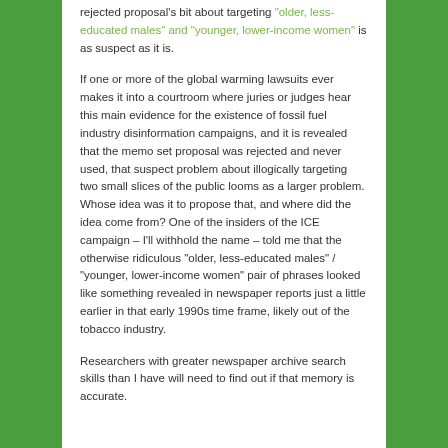rejected proposal's bit about targeting "older, less-educated males" and "younger, lower-income women" is as suspect as it is.
If one or more of the global warming lawsuits ever makes it into a courtroom where juries or judges hear this main evidence for the existence of fossil fuel industry disinformation campaigns, and it is revealed that the memo set proposal was rejected and never used, that suspect problem about illogically targeting two small slices of the public looms as a larger problem. Whose idea was it to propose that, and where did the idea come from? One of the insiders of the ICE campaign – I'll withhold the name – told me that the otherwise ridiculous "older, less-educated males" / "younger, lower-income women" pair of phrases looked like something revealed in newspaper reports just a little earlier in that early 1990s time frame, likely out of the tobacco industry.
Researchers with greater newspaper archive search skills than I have will need to find out if that memory is accurate.